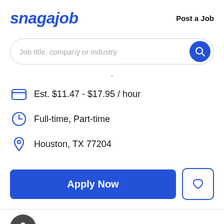snagajob   Post a Job
[Figure (screenshot): Search bar with placeholder text 'Job title, company or industry' and a blue circular search button]
Est. $11.47 - $17.95 / hour
Full-time, Part-time
Houston, TX 77204
[Figure (other): Apply Now button (blue) and a heart/save button (outlined blue square)]
[Figure (logo): Circular dark gray logo icon at bottom left]